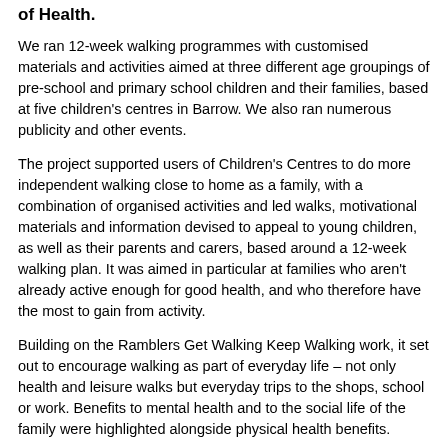of Health.
We ran 12-week walking programmes with customised materials and activities aimed at three different age groupings of pre-school and primary school children and their families, based at five children's centres in Barrow. We also ran numerous publicity and other events.
The project supported users of Children's Centres to do more independent walking close to home as a family, with a combination of organised activities and led walks, motivational materials and information devised to appeal to young children, as well as their parents and carers, based around a 12-week walking plan. It was aimed in particular at families who aren't already active enough for good health, and who therefore have the most to gain from activity.
Building on the Ramblers Get Walking Keep Walking work, it set out to encourage walking as part of everyday life – not only health and leisure walks but everyday trips to the shops, school or work. Benefits to mental health and to the social life of the family were highlighted alongside physical health benefits.
The project was researched by British Heart Foundation experts from Oxford and Loughborough universities to see how well the